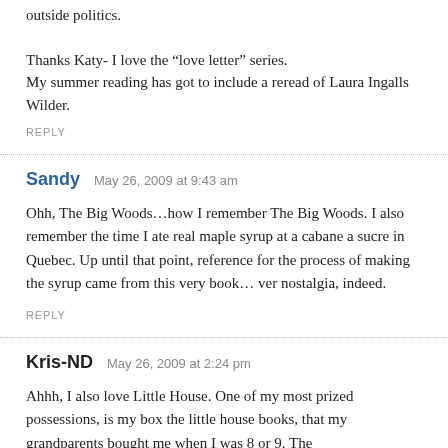outside politics.
Thanks Katy- I love the “love letter” series.
My summer reading has got to include a reread of Laura Ingalls Wilder.
REPLY
Sandy   May 26, 2009 at 9:43 am
Ohh, The Big Woods…how I remember The Big Woods. I also remember the time I ate real maple syrup at a cabane a sucre in Quebec. Up until that point, reference for the process of making the syrup came from this very book… ver nostalgia, indeed.
REPLY
Kris-ND   May 26, 2009 at 2:24 pm
Ahhh, I also love Little House. One of my most prized possessions, is my box the little house books, that my grandparents bought me when I was 8 or 9. The